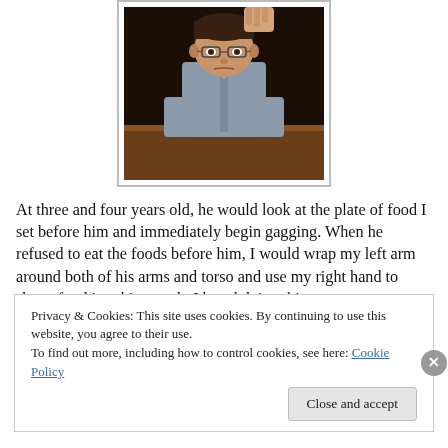[Figure (photo): A young boy wearing glasses and a button-up shirt sitting at a table, looking reluctant, with an adult hand visible above him holding something.]
At three and four years old, he would look at the plate of food I set before him and immediately begin gagging. When he refused to eat the foods before him, I would wrap my left arm around both of his arms and torso and use my right hand to shove food into his mouth. I hated doing this
Privacy & Cookies: This site uses cookies. By continuing to use this website, you agree to their use.
To find out more, including how to control cookies, see here: Cookie Policy
Close and accept